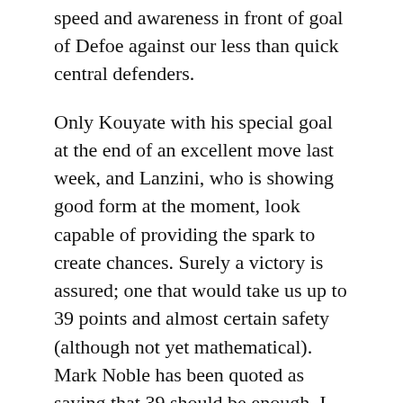speed and awareness in front of goal of Defoe against our less than quick central defenders.
Only Kouyate with his special goal at the end of an excellent move last week, and Lanzini, who is showing good form at the moment, look capable of providing the spark to create chances. Surely a victory is assured; one that would take us up to 39 points and almost certain safety (although not yet mathematical). Mark Noble has been quoted as saying that 39 should be enough. I hope that they don't think that it is job done when (if) we reach that figure. But, you never know, we could even find ourselves in the top half of the table by Saturday evening.